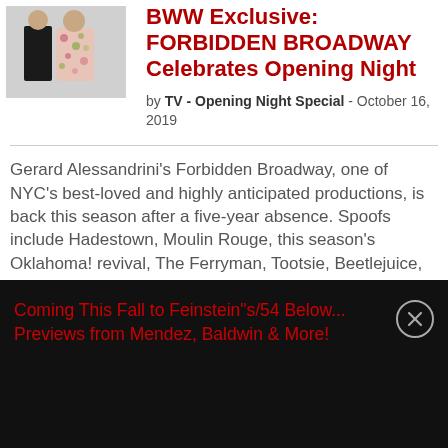[Figure (photo): Two people posing together, one in black outfit, one in floral print dress, at what appears to be a theatrical event.]
BWW Exclusive: FORBIDDEN BROADWAY Celebrates Opening Night
by TV - Opening Night Special - October 16, 2019
Gerard Alessandrini's Forbidden Broadway, one of NYC's best-loved and highly anticipated productions, is back this season after a five-year absence. Spoofs include Hadestown, Moulin Rouge, this season's Oklahoma! revival, The Ferryman, Tootsie, Beetlejuice, Frozen, the Yiddish Fiddler on the Roof,, Dear Evan Hansen, and the new...
Coming This Fall to Feinstein"s/54 Below... Previews from Mendez, Baldwin & More!